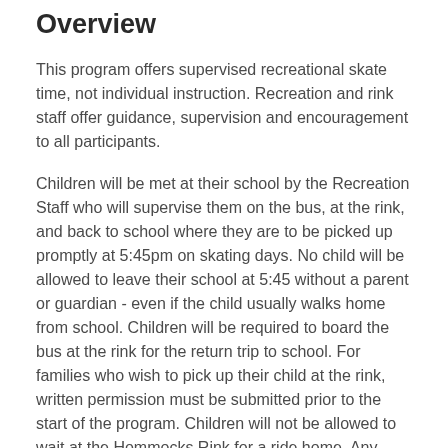Overview
This program offers supervised recreational skate time, not individual instruction. Recreation and rink staff offer guidance, supervision and encouragement to all participants.
Children will be met at their school by the Recreation Staff who will supervise them on the bus, at the rink, and back to school where they are to be picked up promptly at 5:45pm on skating days. No child will be allowed to leave their school at 5:45 without a parent or guardian - even if the child usually walks home from school. Children will be required to board the bus at the rink for the return trip to school. For families who wish to pick up their child at the rink, written permission must be submitted prior to the start of the program. Children will not be allowed to wait at the Hommocks Rink for a ride home. Any child not picked up by the designated parent or guardian at the rink by 5:15 will be required to take the bus back to their school with the group.
For more information contact Recreation Leader Michael